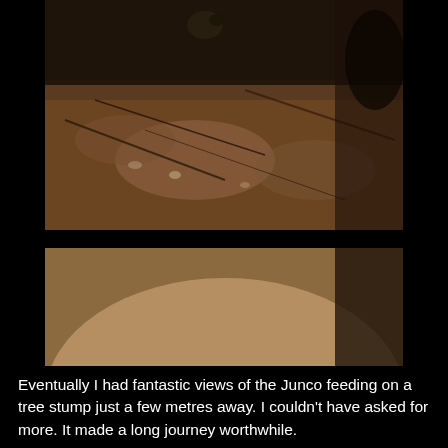[Figure (photo): Top photo showing a bird (Junco) partially obscured, on a rough bark/root surface with twigs and debris. Dark background.]
[Figure (photo): Bottom photo showing a small dark-eyed Junco bird standing on a rocky/bark surface with blurred warm-toned background and some roots/branches visible on the right.]
Eventually I had fantastic views of the Junco feeding on a tree stump just a few metres away. I couldn't have asked for more. It made a long journey worthwhile.